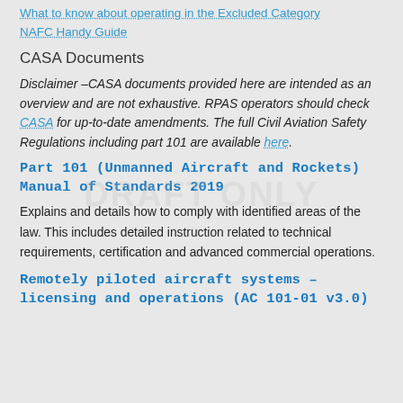What to know about operating in the Excluded Category
NAFC Handy Guide
CASA Documents
Disclaimer –CASA documents provided here are intended as an overview and are not exhaustive. RPAS operators should check CASA for up-to-date amendments. The full Civil Aviation Safety Regulations including part 101 are available here.
Part 101 (Unmanned Aircraft and Rockets) Manual of Standards 2019
Explains and details how to comply with identified areas of the law. This includes detailed instruction related to technical requirements, certification and advanced commercial operations.
Remotely piloted aircraft systems – licensing and operations (AC 101-01 v3.0)